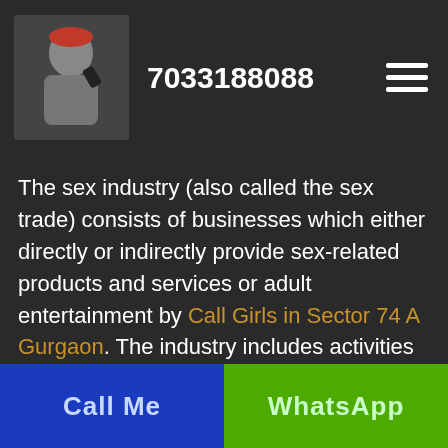7033188088
The sex industry (also called the sex trade) consists of businesses which either directly or indirectly provide sex-related products and services or adult entertainment by Call Girls in Sector 74 A Gurgaon. The industry includes activities involving direct provision of sex-related services, such as prostitution, and sex-related pastimes, such as pornography, sex-oriented men's magazines, sex movies, sex toys and fetish and BDSM paraphernalia. Sex channels for
Call Me | WhatsApp